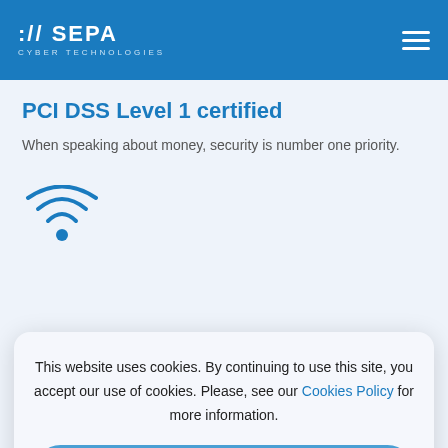:// SEPA CYBER TECHNOLOGIES
PCI DSS Level 1 certified
When speaking about money, security is number one priority.
[Figure (illustration): WiFi / wireless signal icon in blue]
This website uses cookies. By continuing to use this site, you accept our use of cookies. Please, see our Cookies Policy for more information.
Accept